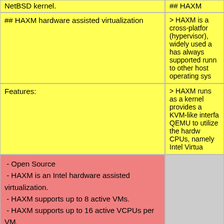NetBSD kernel.
## HAXM
## HAXM hardware assisted virtualization
> HAXM is a cross-platform (hypervisor), widely used a has always supported runn to other host operating sys
Features:
> HAXM runs as a kernel provides a KVM-like interfa QEMU to utilize the hardw CPUs, namely Intel Virtua
- Open Source
- HAXM is an Intel hardware assisted virtualization.
- HAXM supports up to 8 active VMs.
- HAXM supports up to 16 active VCPUs per VM.
- ioctl(2) based API with statically created devices (/dev/HAX, /dev/haxm_vm/vmXX, /dev/haxm_vm/haxm_vmXX_vcpuYY)
HAXM porting for NetBSD rationale:
More information on the p
- Relatively low cost (compared to alternatives) to get it aboard to the NetBSD kernel.
http://blog.netbsd.org/tnf/e
- Relatively non-intrusive (compared to alternatives like bhyve and KVM)
- Scratch but non-functional port for NetBSD is ready.